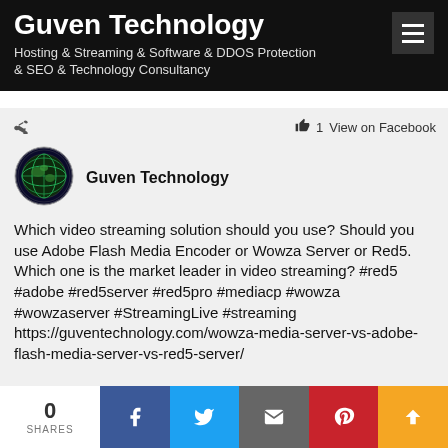Guven Technology
Hosting & Streaming & Software & DDOS Protection & SEO & Technology Consultancy
1  View on Facebook
[Figure (logo): Guven Technology globe logo]
Guven Technology
Which video streaming solution should you use? Should you use Adobe Flash Media Encoder or Wowza Server or Red5. Which one is the market leader in video streaming? #red5 #adobe #red5server #red5pro #mediacp #wowza #wowzaserver #StreamingLive #streaming https://guventechnology.com/wowza-media-server-vs-adobe-flash-media-server-vs-red5-server/
0 SHARES